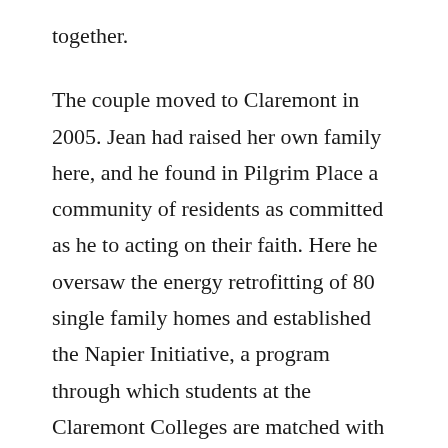together.
The couple moved to Claremont in 2005. Jean had raised her own family here, and he found in Pilgrim Place a community of residents as committed as he to acting on their faith. Here he oversaw the energy retrofitting of 80 single family homes and established the Napier Initiative, a program through which students at the Claremont Colleges are matched with mentors at Pilgrim Place and given cash awards to further environmental and social justice programs of their own devising.
He also audited classes at the Claremont Colleges, delivered food, visited and read to fellow Pilgrims in the infirmary, and played tennis and ping pong